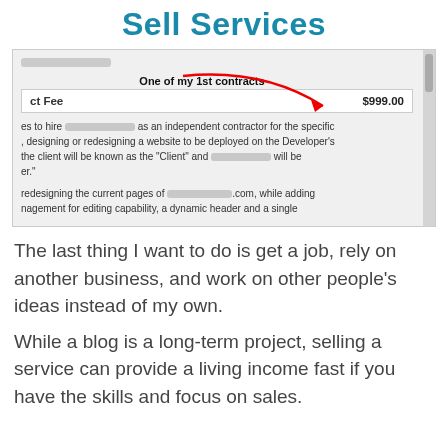Sell Services
[Figure (screenshot): Screenshot of a contract document showing 'One of my 1st contracts' annotation with a red arrow pointing to $999.00 fee, plus partial contract text about hiring an independent contractor for website design/redesign]
The last thing I want to do is get a job, rely on another business, and work on other people's ideas instead of my own.
While a blog is a long-term project, selling a service can provide a living income fast if you have the skills and focus on sales.